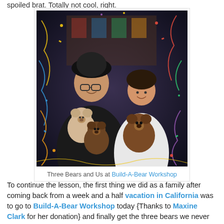spoiled brat. Totally not cool, right.
[Figure (photo): Two people holding teddy bears at Build-A-Bear Workshop, surrounded by colorful confetti decoration. An adult woman wearing glasses and a dark hat holds a light-colored bear, and a young girl holds a brown bear.]
Three Bears and Us at Build-A-Bear Workshop
To continue the lesson, the first thing we did as a family after coming back from a week and a half vacation in California was to go to Build-A-Bear Workshop today {Thanks to Maxine Clark for her donation} and finally get the three bears we never got the chance to purchase before leaving for our trip and the holidays. I can't wait to go back to Birthday Blessings and hand them the bears. I can just imagine the smiles it will bring the lucky children getting them this year.